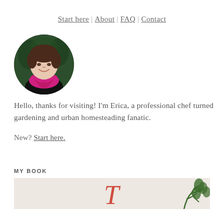Start here | About | FAQ | Contact
[Figure (photo): Circular profile photo of a woman with short brown hair and a pink/magenta scarf, smiling, with green foliage in the background.]
Hello, thanks for visiting! I'm Erica, a professional chef turned gardening and urban homesteading fanatic.
New? Start here.
MY BOOK
[Figure (photo): Partial view of a book cover with a red/orange cursive letter T visible and a plant/fern on the right side, on a light background.]